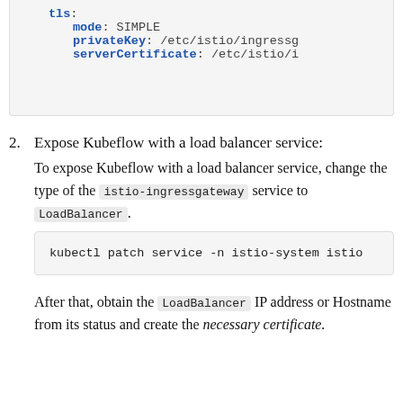[Figure (screenshot): Code block showing YAML TLS configuration with fields: tls:, mode: SIMPLE, privateKey: /etc/istio/ingressg..., serverCertificate: /etc/istio/i...]
2. Expose Kubeflow with a load balancer service:
To expose Kubeflow with a load balancer service, change the type of the istio-ingressgateway service to LoadBalancer.
[Figure (screenshot): Code block: kubectl patch service -n istio-system istio...]
After that, obtain the LoadBalancer IP address or Hostname from its status and create the necessary certificate.